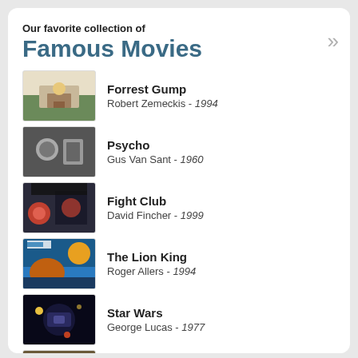Our favorite collection of Famous Movies
Forrest Gump — Robert Zemeckis - 1994
Psycho — Gus Van Sant - 1960
Fight Club — David Fincher - 1999
The Lion King — Roger Allers - 1994
Star Wars — George Lucas - 1977
American Beauty — Sam Mendes - 1999